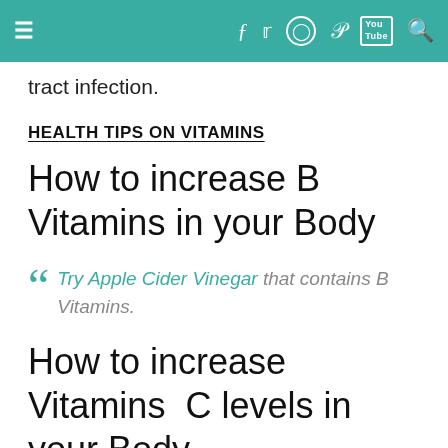≡  f  twitter  instagram  pinterest  YouTube  search
tract infection.
HEALTH TIPS ON VITAMINS
How to increase B Vitamins in your Body
Try Apple Cider Vinegar that contains B Vitamins.
How to increase Vitamins  C levels in your Body